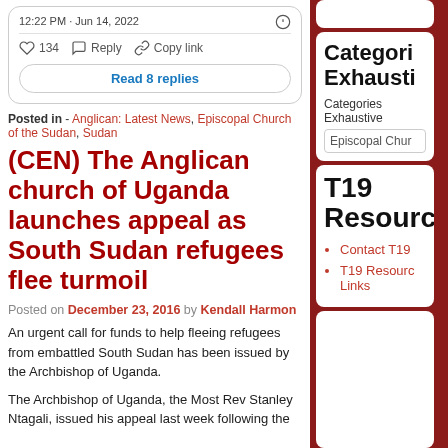12:22 PM · Jun 14, 2022
134  Reply  Copy link
Read 8 replies
Posted in - Anglican: Latest News, Episcopal Church of the Sudan, Sudan
(CEN) The Anglican church of Uganda launches appeal as South Sudan refugees flee turmoil
Posted on December 23, 2016 by Kendall Harmon
An urgent call for funds to help fleeing refugees from embattled South Sudan has been issued by the Archbishop of Uganda.
The Archbishop of Uganda, the Most Rev Stanley Ntagali, issued his appeal last week following the
Categories Exhaustive
Categories Exhaustive
Episcopal Chur...
T19 Resources
Contact T19
T19 Resources Links